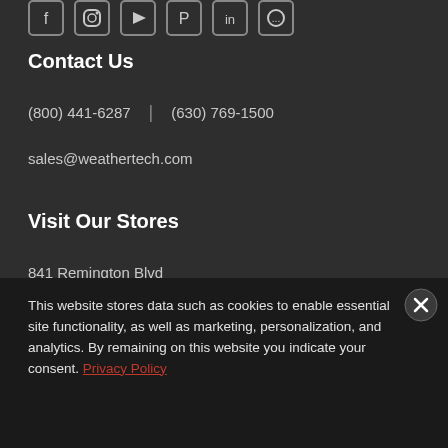[Figure (other): Row of social media icon buttons (Facebook, Instagram, YouTube, Pinterest, LinkedIn, and one more) at top of page]
Contact Us
(800) 441-6287  |  (630) 769-1500
sales@weathertech.com
Visit Our Stores
841 Remington Blvd
Bolingbrook, IL 60440
This website stores data such as cookies to enable essential site functionality, as well as marketing, personalization, and analytics. By remaining on this website you indicate your consent. Privacy Policy